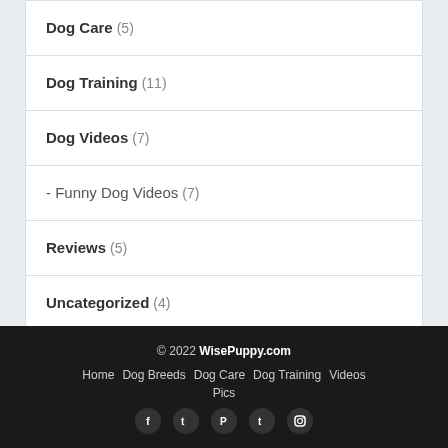Dog Care (5)
Dog Training (11)
Dog Videos (7)
- Funny Dog Videos (7)
Reviews (5)
Uncategorized (4)
© 2022 WisePuppy.com
Home  Dog Breeds  Dog Care  Dog Training  Videos  Pics